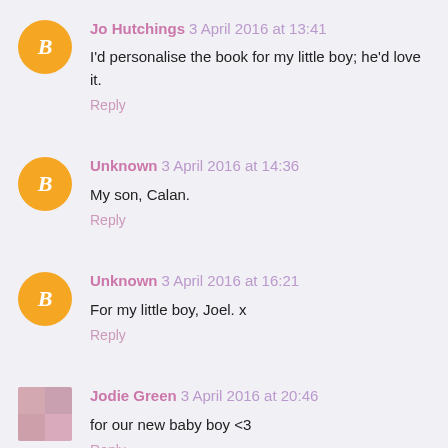Jo Hutchings 3 April 2016 at 13:41
I'd personalise the book for my little boy; he'd love it.
Reply
Unknown 3 April 2016 at 14:36
My son, Calan.
Reply
Unknown 3 April 2016 at 16:21
For my little boy, Joel. x
Reply
Jodie Green 3 April 2016 at 20:46
for our new baby boy <3
Reply